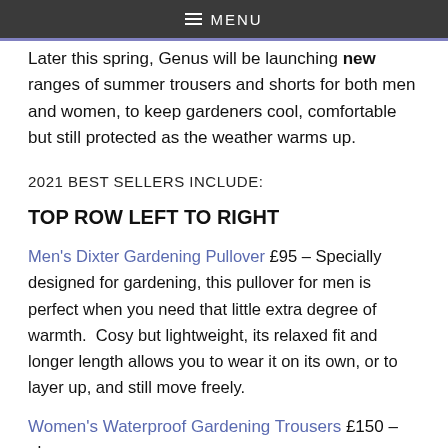≡ MENU
Later this spring, Genus will be launching new ranges of summer trousers and shorts for both men and women, to keep gardeners cool, comfortable but still protected as the weather warms up.
2021 BEST SELLERS INCLUDE:
TOP ROW LEFT TO RIGHT
Men's Dixter Gardening Pullover £95 – Specially designed for gardening, this pullover for men is perfect when you need that little extra degree of warmth.  Cosy but lightweight, its relaxed fit and longer length allows you to wear it on its own, or to layer up, and still move freely.
Women's Waterproof Gardening Trousers £150 – also